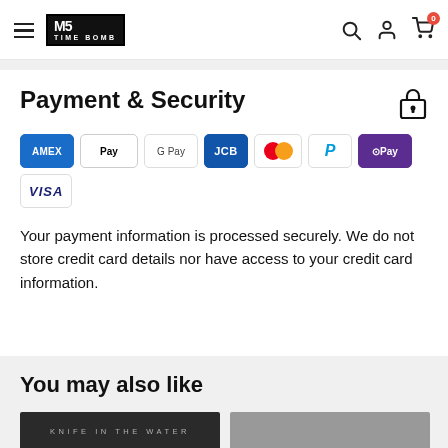Time Bomb — navigation header with hamburger menu, logo, search, user, and cart (0 items) icons
Payment & Security
[Figure (other): Payment method icons: American Express, Apple Pay, Google Pay, JCB, Mastercard, PayPal, O Pay, Visa]
Your payment information is processed securely. We do not store credit card details nor have access to your credit card information.
You may also like
[Figure (photo): Partial product image showing 'KNIFE IN THE WATER' movie title]
[Figure (photo): Partial second product image, partially cut off]